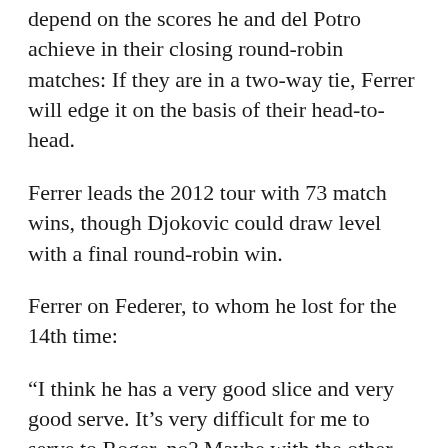depend on the scores he and del Potro achieve in their closing round-robin matches: If they are in a two-way tie, Ferrer will edge it on the basis of their head-to-head.
Ferrer leads the 2012 tour with 73 match wins, though Djokovic could draw level with a final round-robin win.
Ferrer on Federer, to whom he lost for the 14th time:
“I think he has a very good slice and very good serve. It’s very difficult for me to serve to Roger, no? Maybe with the other players I can receive better. And Roger I can’t do…He’s very good, so maybe the difference with him is because he’s